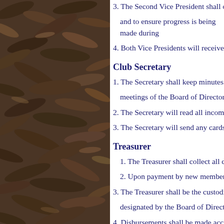[Figure (photo): Left column photo of fallen dried leaves and leaf litter on the ground, dark brown tones]
3. The Second Vice President shall oversee the and to ensure progress is being made during
4. Both Vice Presidents will receive assistanc
Club Secretary
1. The Secretary shall keep minutes of all me meetings of the Board of Directors.
2. The Secretary will read all incoming mail
3. The Secretary will send any cards to memb
Treasurer
1. The Treasurer shall collect all dues and no
2. Upon payment by new members, the Treas
3. The Treasurer shall be the custodian of the designated by the Board of Directors. Curren
4. Disbursements shall be made according to